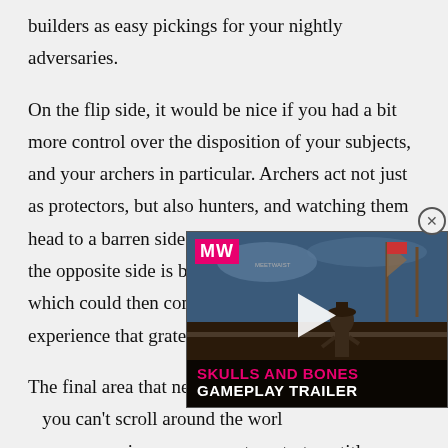builders as easy pickings for your nightly adversaries.

On the flip side, it would be nice if you had a bit more control over the disposition of your subjects, and your archers in particular. Archers act not just as protectors, but also hunters, and watching them head to a barren side of your encampment while the opposite side is bursting with potential prey which could then converted to gold is an experience that grates at times.

The final area that needs touching up is the camera – you can't scroll around the world map like you can in most sim management or strategy titles, instead being limited to following your king or queen. Delving into the forest that surrounds your small kingdom is necessary if you want to see
[Figure (screenshot): Video advertisement overlay for 'Skulls and Bones Gameplay Trailer' from MeetWaist/MW, showing a game scene with a character and ships, with a pink play button and title bar.]